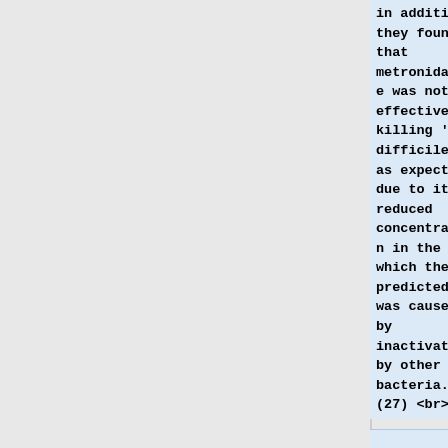In addition, they found that metronidazole was not as effective at killing ''C. difficile'' as expected due to its reduced concentration in the gut which they predicted was caused by inactivation by other gut bacteria. (27)  <br>